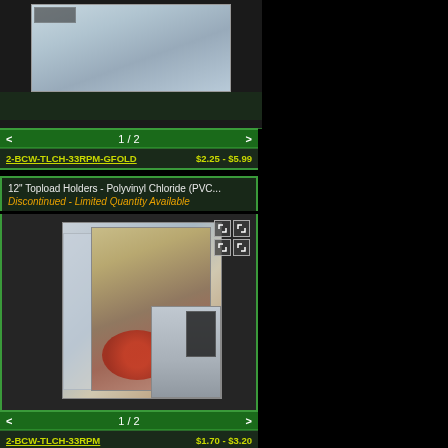[Figure (photo): Product image of vinyl record plastic sleeve/topload holder, partially visible at top of page]
< 1 / 2 >
2-BCW-TLCH-33RPM-GFOLD   $2.25 - $5.99
12" Topload Holders - Polyvinyl Chloride (PVC...
Discontinued - Limited Quantity Available
[Figure (photo): Product image showing 12 inch topload holders with vinyl record Sgt. Pepper album cover visible inside a clear plastic holder]
< 1 / 2 >
2-BCW-TLCH-33RPM   $1.70 - $3.20
12" x 15" 2mil Zip Bags